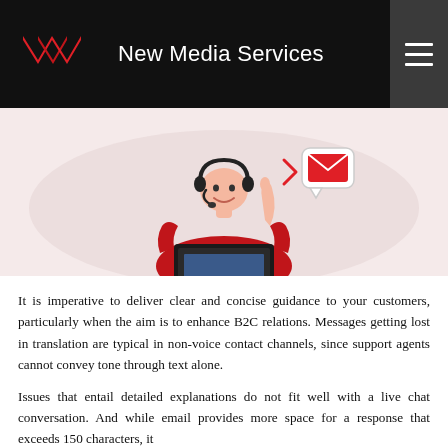New Media Services
[Figure (illustration): Illustration of a customer support agent wearing a headset, dressed in red, raising one finger, seated at a laptop. A speech bubble icon and envelope icon appear to the upper right. The background is a soft pink/grey blob shape on a light pink background.]
It is imperative to deliver clear and concise guidance to your customers, particularly when the aim is to enhance B2C relations. Messages getting lost in translation are typical in non-voice contact channels, since support agents cannot convey tone through text alone.
Issues that entail detailed explanations do not fit well with a live chat conversation. And while email provides more space for a response that exceeds 150 characters, it